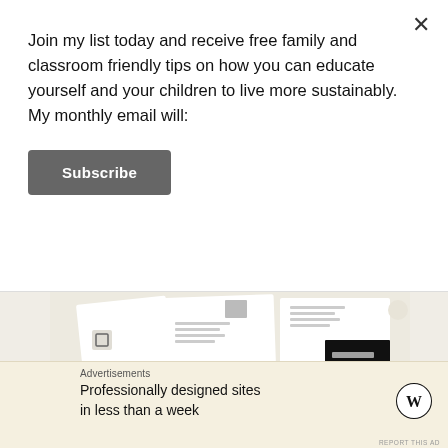Join my list today and receive free family and classroom friendly tips on how you can educate yourself and your children to live more sustainably. My monthly email will:
Subscribe
[Figure (screenshot): Screenshot of a document/newsletter layout with pages and text columns, shown on a light beige background]
REPORT THIS AD
Search ...
Advertisements
Professionally designed sites in less than a week